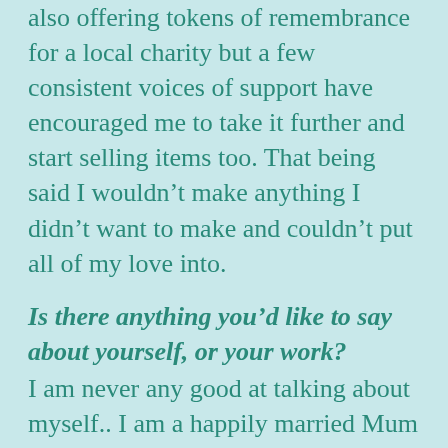also offering tokens of remembrance for a local charity but a few consistent voices of support have encouraged me to take it further and start selling items too. That being said I wouldn't make anything I didn't want to make and couldn't put all of my love into.
Is there anything you'd like to say about yourself, or your work?
I am never any good at talking about myself.. I am a happily married Mum of 4, just sharing my crafting journey with those who might be interested. But I do appreciate any love and support I receive for the work I do and the things I can make. I enjoy crafting and crochet so much that I'd like to make a living from it if possible and eventually have a workshop or